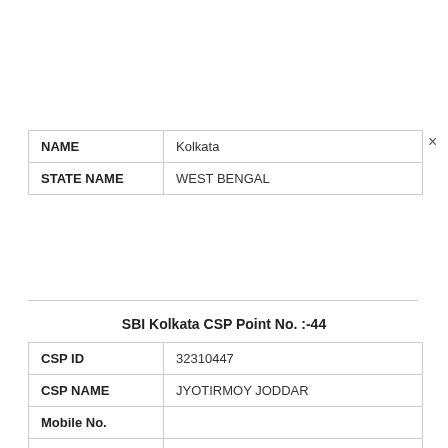| Field | Value |
| --- | --- |
| NAME | Kolkata |
| STATE NAME | WEST BENGAL |
SBI Kolkata CSP Point No. :-44
| Field | Value |
| --- | --- |
| CSP ID | 32310447 |
| CSP NAME | JYOTIRMOY JODDAR |
| Mobile No. |  |
| ADDRESS | KAKINARA RAMMNAGAR JAGADDAL KOLKATA A/C NO 34181616939 CIF NO 87665291383 |